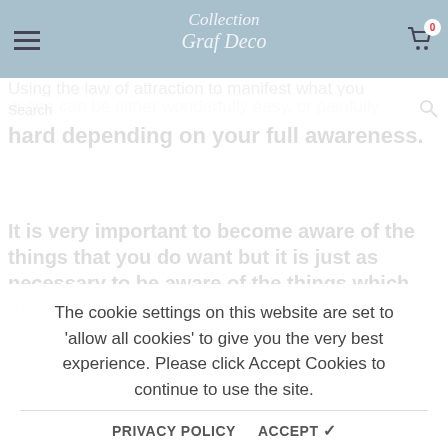Collection Graf Deco — navigation header with hamburger menu, logo, and cart icon (0 items)
Using the law of attraction to manifest what you desire can be either wonderfully easy, or painfully hard depending on your full awareness.
It is very important to become aware of the things that you do want but it is just as necessary to be aware of the things which prevent you from getting what you want.
The cookie settings on this website are set to 'allow all cookies' to give you the very best experience. Please click Accept Cookies to continue to use the site.
PRIVACY POLICY   ACCEPT ✓
1. Not being in alignment